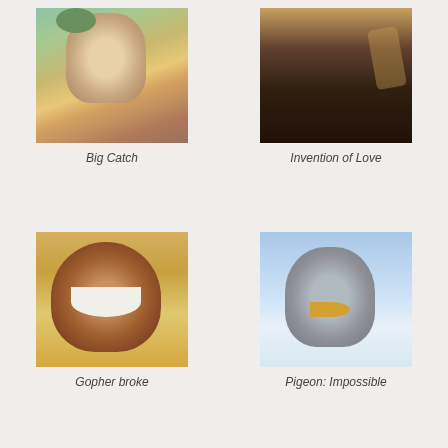[Figure (photo): Animated character - large man fishing, Big Catch]
Big Catch
[Figure (photo): Dark silhouette scene - Invention of Love]
Invention of Love
[Figure (photo): Animated gopher character smiling - Gopher broke]
Gopher broke
[Figure (photo): Animated pigeon close-up - Pigeon: Impossible]
Pigeon: Impossible